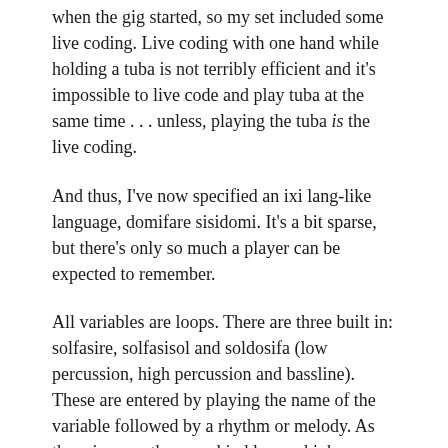when the gig started, so my set included some live coding. Live coding with one hand while holding a tuba is not terribly efficient and it's impossible to live code and play tuba at the same time . . . unless, playing the tuba is the live coding.
And thus, I've now specified an ixi lang-like language, domifare sisidomi. It's a bit sparse, but there's only so much a player can be expected to remember.
All variables are loops. There are three built in: solfasire, solfasisol and soldosifa (low percussion, high percussion and bassline). These are entered by playing the name of the variable followed by a rhythm or melody. As there is more than one kind low or high percussion instruments, different ones can be specified by playing different pitches.